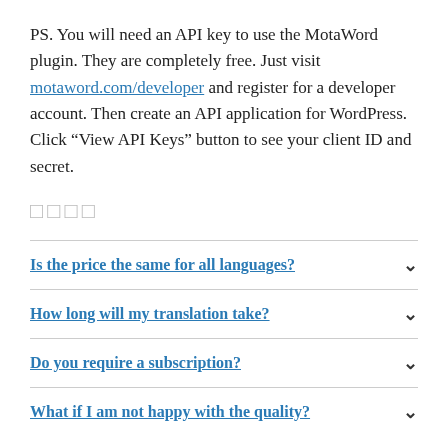PS. You will need an API key to use the MotaWord plugin. They are completely free. Just visit motaword.com/developer and register for a developer account. Then create an API application for WordPress. Click “View API Keys” button to see your client ID and secret.
□□□□
Is the price the same for all languages?
How long will my translation take?
Do you require a subscription?
What if I am not happy with the quality?